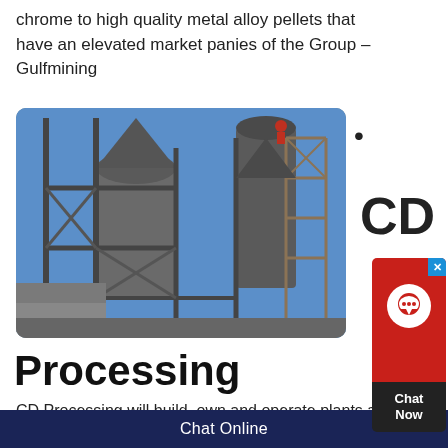chrome to high quality metal alloy pellets that have an elevated market panies of the Group – Gulfmining
[Figure (photo): Industrial processing plant showing large metal silos/towers with steel scaffolding against a blue sky]
Processing
CD Processing will build, own and operate plants at the mine on a tolling basis Currently we are
Chat Online